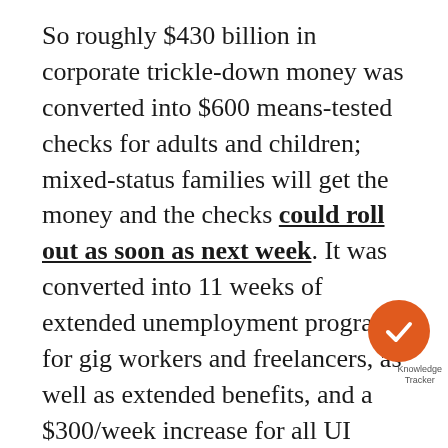So roughly $430 billion in corporate trickle-down money was converted into $600 means-tested checks for adults and children; mixed-status families will get the money and the checks could roll out as soon as next week. It was converted into 11 weeks of extended unemployment programs for gig workers and freelancers, as well as extended benefits, and a $300/week increase for all UI programs. Those two pieces have a value of $286 billion, less than the money cannon reserve. Add $25 billion in rental assistance, $20 billion for businesses in low-income communities, $14 billion to maintain mass transit systems, $13 billion for expanded nutrition assistance, $10 billion to sustain child care facilities, and $7 billion for broadband assistance for mostly poor families, and you're still not there. There's another
[Figure (illustration): Orange circular badge with white checkmark icon, labeled 'Knowledge Tracker']